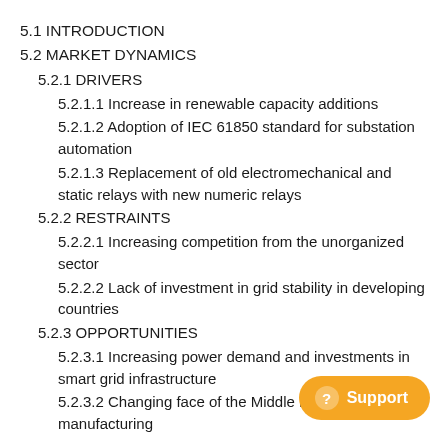5.1 INTRODUCTION
5.2 MARKET DYNAMICS
5.2.1 DRIVERS
5.2.1.1 Increase in renewable capacity additions
5.2.1.2 Adoption of IEC 61850 standard for substation automation
5.2.1.3 Replacement of old electromechanical and static relays with new numeric relays
5.2.2 RESTRAINTS
5.2.2.1 Increasing competition from the unorganized sector
5.2.2.2 Lack of investment in grid stability in developing countries
5.2.3 OPPORTUNITIES
5.2.3.1 Increasing power demand and investments in smart grid infrastructure
5.2.3.2 Changing face of the Middle Eastern manufacturing industry